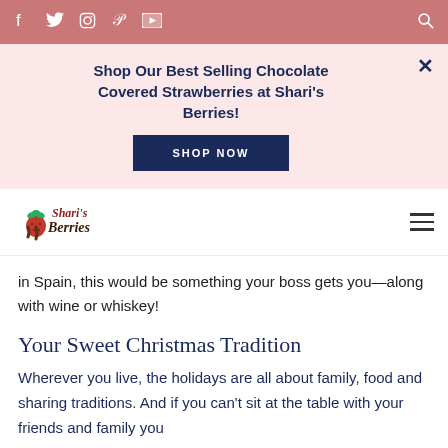Social media icon bar with Facebook, Twitter, Instagram, Pinterest, YouTube and search icons
Shop Our Best Selling Chocolate Covered Strawberries at Shari's Berries!
SHOP NOW
[Figure (logo): Shari's Berries logo with strawberry graphic]
in Spain, this would be something your boss gets you—along with wine or whiskey!
Your Sweet Christmas Tradition
Wherever you live, the holidays are all about family, food and sharing traditions. And if you can't sit at the table with your friends and family you